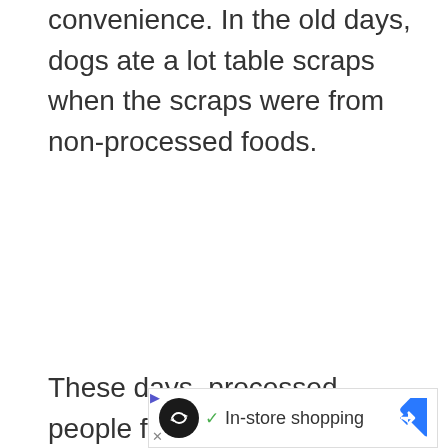convenience. In the old days, dogs ate a lot table scraps when the scraps were from non-processed foods.
These days, processed people food is bad enough
[Figure (screenshot): Advertisement bar showing an infinity loop icon, checkmark, 'In-store shopping' text, and a blue navigation diamond icon, with a play button and close X button on the left side.]